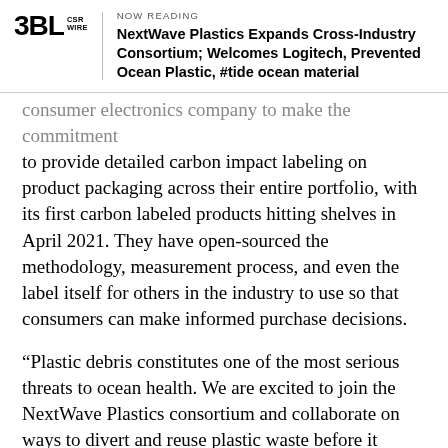NOW READING
NextWave Plastics Expands Cross-Industry Consortium; Welcomes Logitech, Prevented Ocean Plastic, #tide ocean material
consumer electronics company to make the commitment to provide detailed carbon impact labeling on product packaging across their entire portfolio, with its first carbon labeled products hitting shelves in April 2021. They have open-sourced the methodology, measurement process, and even the label itself for others in the industry to use so that consumers can make informed purchase decisions.
“Plastic debris constitutes one of the most serious threats to ocean health. We are excited to join the NextWave Plastics consortium and collaborate on ways to divert and reuse plastic waste before it enters ocean-bound waterways,” said Prakash Arunkundrum, global head of operations and sustainability at Logitech. “At Logitech, we are committed to continuing to expand our efforts to eliminate single-use plastic and we are increasingly using